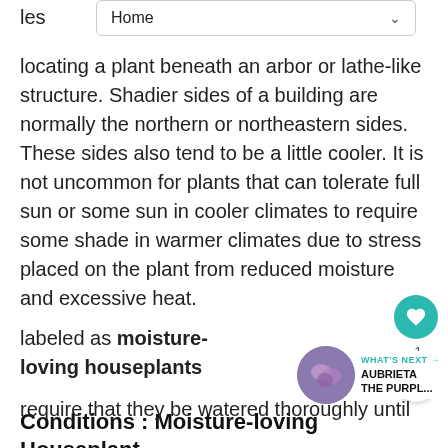Home
locating a plant beneath an arbor or lathe-like structure. Shadier sides of a building are normally the northern or northeastern sides. These sides also tend to be a little cooler. It is not uncommon for plants that can tolerate full sun or some sun in cooler climates to require some shade in warmer climates due to stress placed on the plant from reduced moisture and excessive heat.
Conditions : Moisture-loving Houseplants
Houseplants that require ample water labeled as moisture-loving houseplants require that they be watered thoroughly until